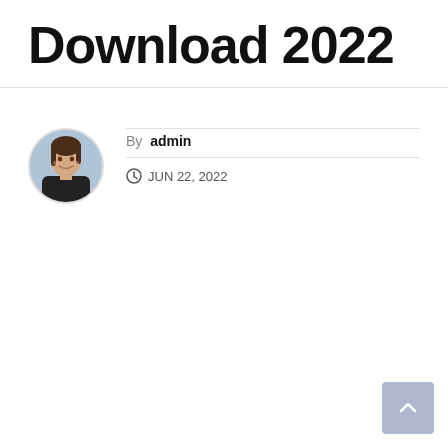Download 2022
By admin
JUN 22, 2022
[Figure (photo): Circular avatar photo of a smiling woman with dark hair, wearing a dark top, photographed outdoors with a blurred background.]